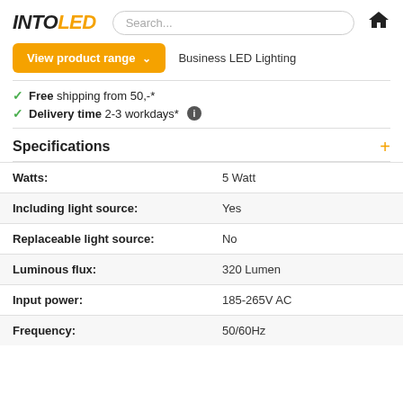[Figure (logo): IntoLED logo with INTO in black italic and LED in orange italic]
Search...
View product range ˅
Business LED Lighting
Free shipping from 50,-*
Delivery time 2-3 workdays* ℹ
Specifications
|  |  |
| --- | --- |
| Watts: | 5 Watt |
| Including light source: | Yes |
| Replaceable light source: | No |
| Luminous flux: | 320 Lumen |
| Input power: | 185-265V AC |
| Frequency: | 50/60Hz |